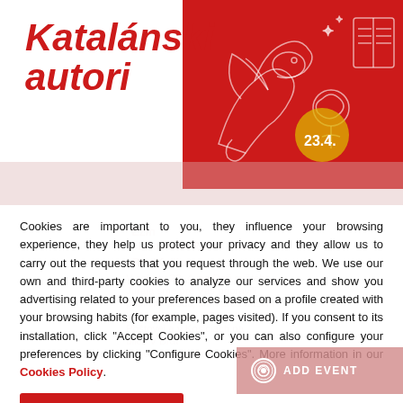[Figure (illustration): Red banner with decorative illustration (dragon, rose, book icons) and 'Katalánski autori' text in italic red font on white background, partially overlapping the graphic]
Cookies are important to you, they influence your browsing experience, they help us protect your privacy and they allow us to carry out the requests that you request through the web. We use our own and third-party cookies to analyze our services and show you advertising related to your preferences based on a profile created with your browsing habits (for example, pages visited). If you consent to its installation, click "Accept Cookies", or you can also configure your preferences by clicking "Configure Cookies". More information in our Cookies Policy.
Accept all cookies
Configure cookies